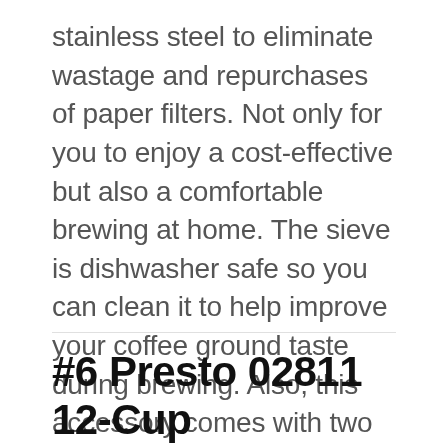stainless steel to eliminate wastage and repurchases of paper filters. Not only for you to enjoy a cost-effective but also a comfortable brewing at home. The sieve is dishwasher safe so you can clean it to help improve your coffee ground taste during brewing. Also, this accessory comes with two band options, including silicone and cork. They help improve the rip when pouring a tasty cup of coffee to cup.
#6 Presto 02811 12-Cup Stainless Steel Coffee